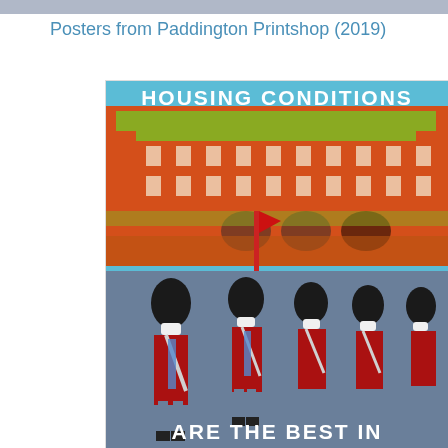Posters from Paddington Printshop (2019)
[Figure (illustration): A poster titled 'HOUSING CONDITIONS ARE THE BEST IN...' showing a pop-art style screenprint of Buckingham Palace in orange and green against a blue sky, with Queen's Guard soldiers in red coats and tall black bearskin hats marching in the foreground.]